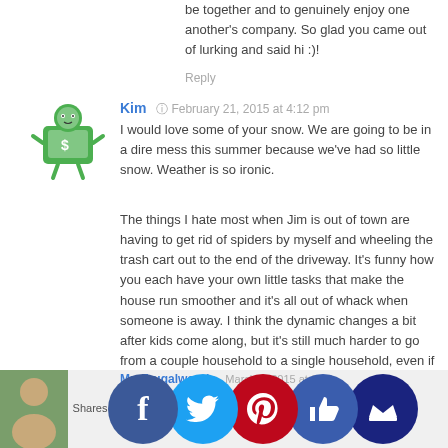be together and to genuinely enjoy one another's company. So glad you came out of lurking and said hi :)!
Reply
Kim   February 21, 2015 at 4:12 pm
I would love some of your snow. We are going to be in a dire mess this summer because we've had so little snow. Weather is so ironic.
The things I hate most when Jim is out of town are having to get rid of spiders by myself and wheeling the trash cart out to the end of the driveway. It's funny how you each have your own little tasks that make the house run smoother and it's all out of whack when someone is away. I think the dynamic changes a bit after kids come along, but it's still much harder to go from a couple household to a single household, even if only for a few days.
Reply
MrsFrugalwoods   March 1, 2015 at 9:07
e the ision with r spid and rash cans everything is thrown out when some...
Shares